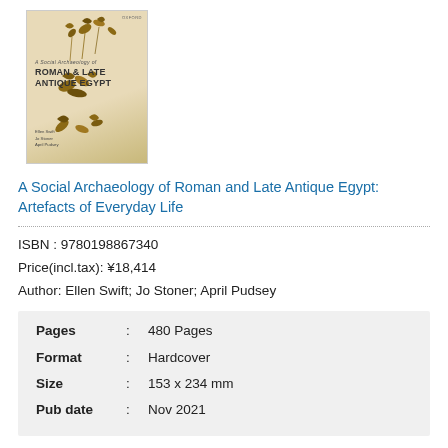[Figure (photo): Book cover of 'A Social Archaeology of Roman & Late Antique Egypt' showing decorative botanical/floral artefacts on a beige/cream background with authors listed at bottom.]
A Social Archaeology of Roman and Late Antique Egypt: Artefacts of Everyday Life
ISBN : 9780198867340
Price(incl.tax): ¥18,414
Author: Ellen Swift; Jo Stoner; April Pudsey
| Pages | : | 480 Pages |
| Format | : | Hardcover |
| Size | : | 153 x 234 mm |
| Pub date | : | Nov 2021 |